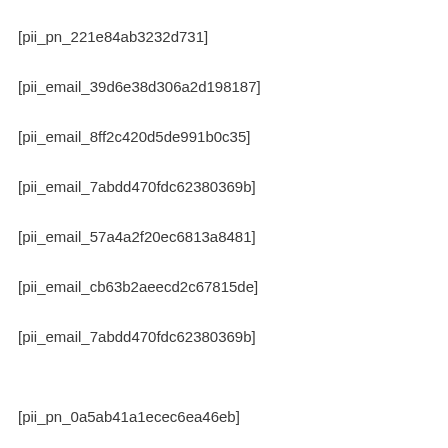[pii_pn_221e84ab3232d731]
[pii_email_39d6e38d306a2d198187]
[pii_email_8ff2c420d5de991b0c35]
[pii_email_7abdd470fdc62380369b]
[pii_email_57a4a2f20ec6813a8481]
[pii_email_cb63b2aeecd2c67815de]
[pii_email_7abdd470fdc62380369b]
[pii_pn_0a5ab41a1ecec6ea46eb]